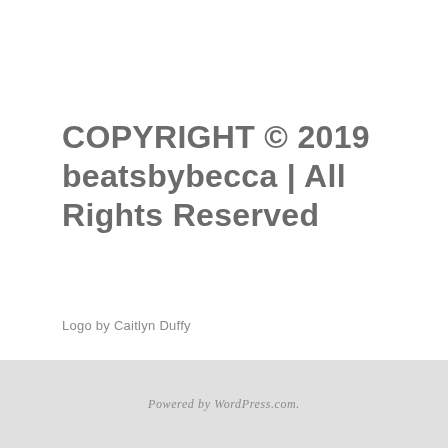COPYRIGHT © 2019 beatsbybecca | All Rights Reserved
Logo by Caitlyn Duffy
Powered by WordPress.com.